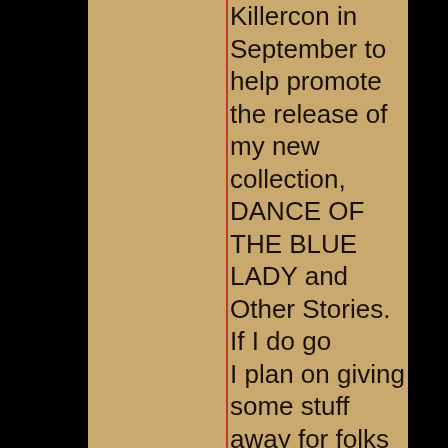Killercon in September to help promote the release of my new collection, DANCE OF THE BLUE LADY and Other Stories. If I do go
I plan on giving some stuff away for folks who support my collection. More on that later.

So it goes here on the front.